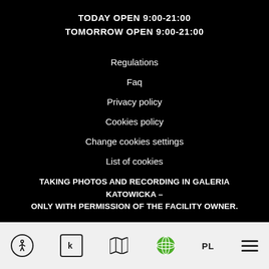TODAY OPEN 9:00-21:00
TOMORROW OPEN 9:00-21:00
Regulations
Faq
Privacy policy
Cookies policy
Change cookies settings
List of cookies
List of trusted partners
TAKING PHOTOS AND RECORDING IN GALERIA KATOWICKA – ONLY WITH PERMISSION OF THE FACILITY OWNER.
[Figure (infographic): Bottom navigation bar with icons: accessibility person-in-circle icon, K letter in square icon, map/book icon, green globe icon, PL language label, and hamburger menu icon.]